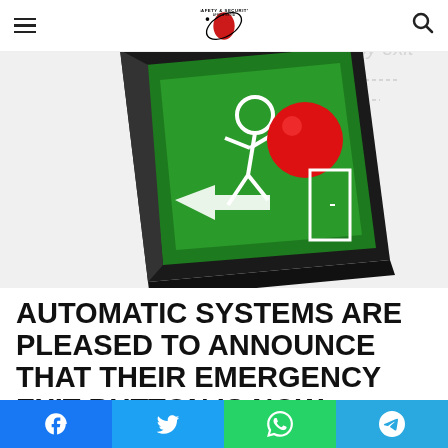Safety & Security Africa — site header with logo, hamburger menu, and search icon
[Figure (photo): Emergency exit button device — a black rectangular device with a green illuminated face showing a running person figure in white and a red circle, photographed at an angle on white background with text 'push for emergency exit' partially visible in background]
AUTOMATIC SYSTEMS ARE PLEASED TO ANNOUNCE THAT THEIR EMERGENCY EXIT BUTTON IS NOW CERTIFIED TO
Social share buttons: Facebook, Twitter, WhatsApp, Telegram